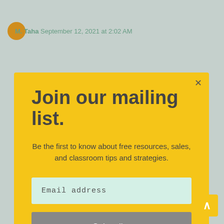M. Taha September 12, 2021 at 2:02 AM
Thank you for sharing great information.
https://westasianetwork.com/
REPLY
Join our mailing list.
Be the first to know about free resources, sales, and classroom tips and strategies.
Email address
Subscribe